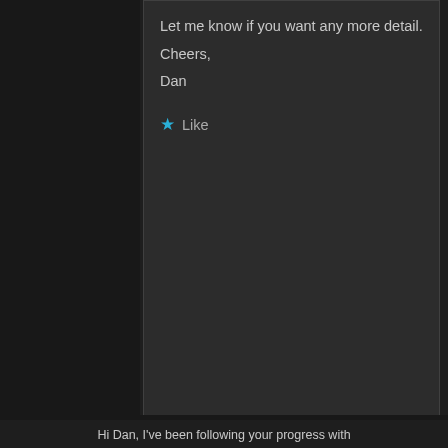Let me know if you want any more detail.
Cheers,
Dan
Like
[Figure (screenshot): Pocket Casts advertisement banner: red background on left with text 'for listeners.' and Pocket Casts logo and phone image on the right]
REPORT THIS AD
Privacy & Cookies: This site uses cookies. By continuing to use this website, you agree to their use.
To find out more, including how to control cookies, see here: Cookie Policy
Close and accept
Hi Dan, I've been following your progress with